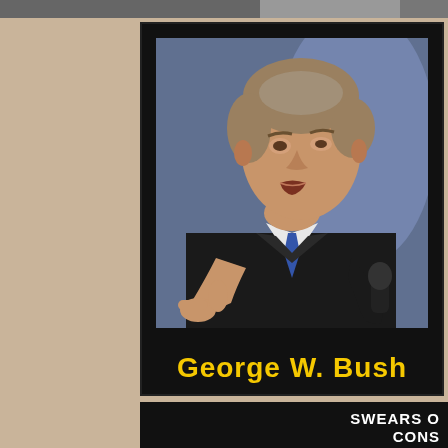[Figure (photo): Partial image strip at top of page showing indistinct figures]
[Figure (photo): Black trading-card style frame showing George W. Bush pointing with his right hand, wearing a dark suit and blue tie, with yellow bold text 'George W. Bush' at the bottom of the card]
SWEARS O
CONS